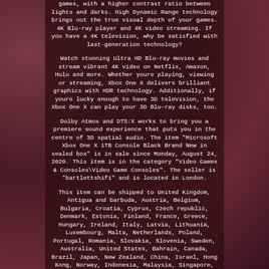games, with a higher contrast ratio between lights and darks. High Dynamic Range technology brings out the true visual depth of your games. 4K Blu-ray player and 4K video streaming. If you have a 4K television, why be satisfied with last-generation technology?
Watch stunning Ultra HD Blu-ray movies and stream vibrant 4K video on Netflix, Amazon, Hulu and more. Whether youre playing, viewing or streaming, Xbox One X delivers brilliant graphics with HDR technology. Additionally, if youre lucky enough to have 3D television, the Xbox One X can play your 3D Blu-ray disks, too.
Dolby Atmos and DTS:X works to bring you a premiere sound experience that puts you in the centre of 3D spatial audio. The item "Microsoft Xbox One X 1TB Console Black Brand New in sealed box" is in sale since Monday, August 24, 2020. This item is in the category "Video Games & Consoles\Video Game Consoles". The seller is "bartlettshifi" and is located in London.
This item can be shipped to United Kingdom, Antigua and barbuda, Austria, Belgium, Bulgaria, Croatia, Cyprus, Czech republic, Denmark, Estonia, Finland, France, Greece, Hungary, Ireland, Italy, Latvia, Lithuania, Luxembourg, Malta, Netherlands, Poland, Portugal, Romania, Slovakia, Slovenia, Sweden, Australia, United States, Bahrain, Canada, Brazil, Japan, New Zealand, China, Israel, Hong Kong, Norway, Indonesia, Malaysia, Singapore, South Korea, Switzerland, Taiwan, Thailand, Bangladesh, Belize, Bermuda, Bolivia, Barbados, Brunei darussalam, Dominica, Ecuador, Egypt